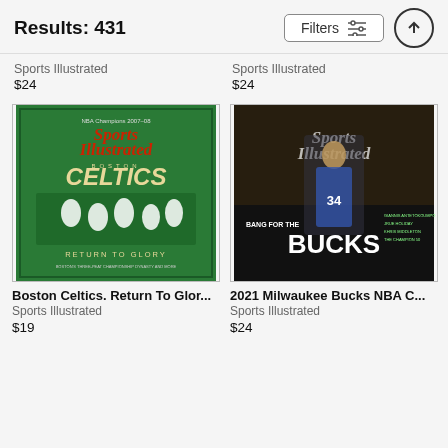Results: 431
Filters
Sports Illustrated
$24
Sports Illustrated
$24
[Figure (photo): Sports Illustrated magazine cover featuring Boston Celtics NBA Champions 2007-08, Return To Glory]
[Figure (photo): Sports Illustrated magazine cover featuring 2021 Milwaukee Bucks NBA Championship, Giannis celebrating with trophy]
Boston Celtics. Return To Glor...
Sports Illustrated
$19
2021 Milwaukee Bucks NBA C...
Sports Illustrated
$24